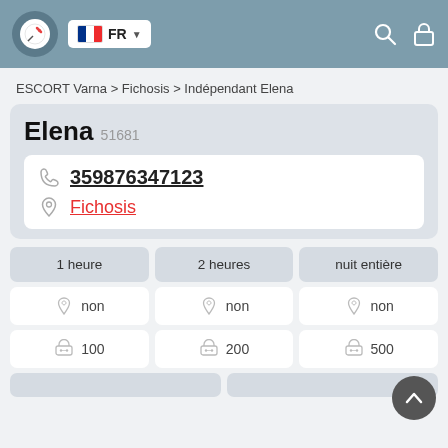FR
ESCORT Varna > Fichosis > Indépendant Elena
Elena 51681
359876347123
Fichosis
| 1 heure | 2 heures | nuit entière |
| --- | --- | --- |
| non | non | non |
| 100 | 200 | 500 |